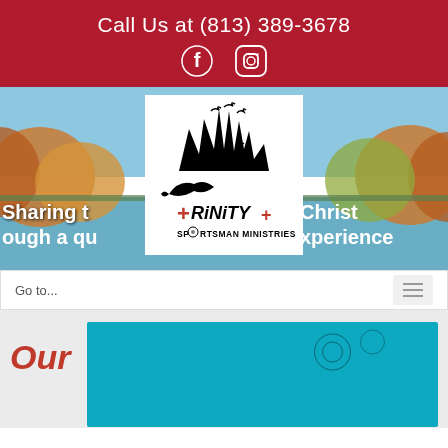Call Us at (813) 389-3678
[Figure (illustration): Facebook and Instagram social media icons in white on dark red background]
[Figure (photo): Scenic lake with autumn trees background. Trinity Sportsman Ministries logo overlaid in center on white card. Text overlay reads: Sharing the love of Christ through a quality outdoor experience]
Go to...
Our
[Figure (photo): Partial photo of what appears to be a shooting or outdoor activity, teal/blue background visible]